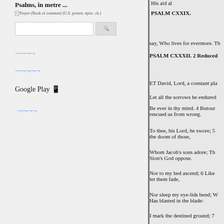Psalms, in metre ...
Prayer (Book of common) (U.S. protest. episc. ch.)
[search box and button]
[Korean link 1]
[Korean link 2]
Google Play [icon]
[Korean link 3]
PSALM CXXIX.
His aid al
PSALM CXXXII. 2 Reduced
say, Who lives for evermore. Th
ET David, Lord, a constant pl
Let all the sorrows he endured
Be ever in thy mind. 4 Butour rescued us from wrong.
To tbee, his Lord, he swore; 5 the doom of those,
Whom Jacob's sons adore; The Sion's God oppose.
Nor to my bed ascend; 6 Like let them fade,
Nor sleep my eye-lids bend; W Has blasted in the blade:
I mark the destined ground; 7